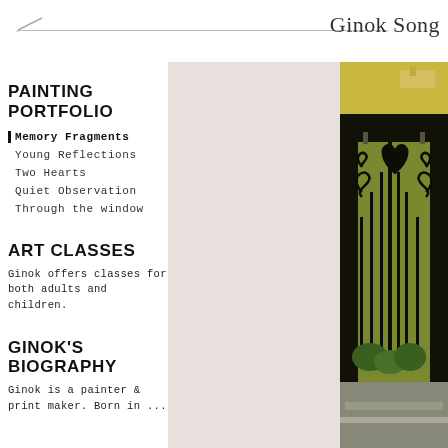Ginok Song
PAINTING PORTFOLIO
Memory Fragments
Young Reflections
Two Hearts
Quiet Observation
Through the window
ART CLASSES
Ginok offers classes for both adults and children.
GINOK'S BIOGRAPHY
Ginok is a painter & print maker. Born in ...
[Figure (photo): Painting of an ornate black wrought-iron gate with scrollwork patterns, set in a yellow-green doorway, viewed from below with architectural details visible above]